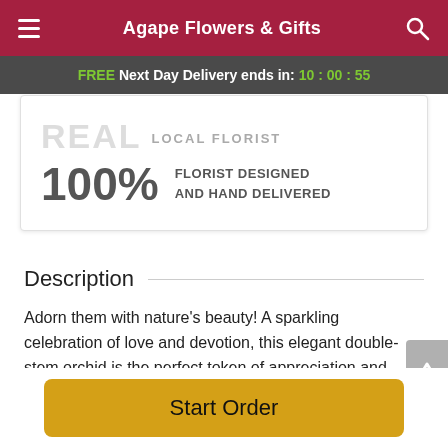Agape Flowers & Gifts
FREE Next Day Delivery ends in: 10:00:55
[Figure (infographic): Card showing REAL LOCAL FLORIST logo and 100% FLORIST DESIGNED AND HAND DELIVERED badge]
Description
Adorn them with nature's beauty! A sparkling celebration of love and devotion, this elegant double-stem orchid is the perfect token of appreciation and admiration. Ideal for Mother's Day, anniversaries, birthdays, and more.
Start Order